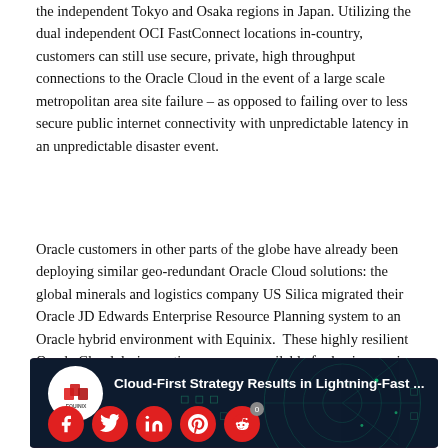the independent Tokyo and Osaka regions in Japan. Utilizing the dual independent OCI FastConnect locations in-country, customers can still use secure, private, high throughput connections to the Oracle Cloud in the event of a large scale metropolitan area site failure – as opposed to failing over to less secure public internet connectivity with unpredictable latency in an unpredictable disaster event.
Oracle customers in other parts of the globe have already been deploying similar geo-redundant Oracle Cloud solutions: the global minerals and logistics company US Silica migrated their Oracle JD Edwards Enterprise Resource Planning system to an Oracle hybrid environment with Equinix.  These highly resilient Oracle Cloud design options are now available for businesses in the Asia-Pacific region alongside the recent expansions of Oracle Cloud and OCI FastConnect at Equinix.
[Figure (screenshot): YouTube video thumbnail showing 'Cloud-First Strategy Results in Lightning-Fast ...' with Equinix logo, a dark radar/dashboard background graphic, and social media share icons (Facebook, Twitter, LinkedIn, Pinterest, Reddit) at the bottom.]